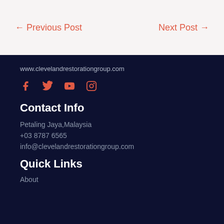← Previous Post    Next Post →
www.clevelandrestorationgroup.com
[Figure (infographic): Social media icons: Facebook, Twitter, YouTube, Instagram in coral/orange-red color]
Contact Info
Petaling Jaya,Malaysia
+03 8787 6565
info@clevelandrestorationgroup.com
Quick Links
About